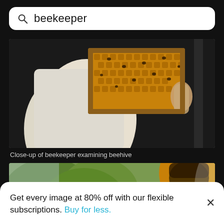beekeeper
[Figure (photo): Close-up of beekeeper in white suit holding honeycomb frame covered with bees against dark background]
Close-up of beekeeper examining beehive
[Figure (photo): Beekeeper in yellow suit working outdoors with beehive smoker on green wooden surface, lush green vegetation in background]
Get every image at 80% off with our flexible subscriptions. Buy for less.